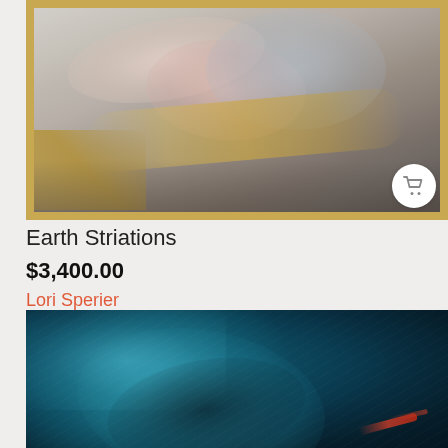[Figure (photo): Abstract painting 'Earth Striations' showing soft pastel swirls of white, pink, blue, and gold tones with a gold frame border]
Earth Striations
$3,400.00
Lori Sperier
[Figure (photo): Abstract painting featuring deep teal and blue swirling waves with dark center and red accent strokes]